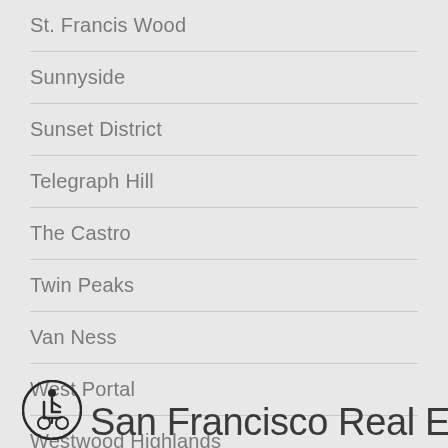St. Francis Wood
Sunnyside
Sunset District
Telegraph Hill
The Castro
Twin Peaks
Van Ness
West Portal
Westwood Highlands
Westwood Park
[Figure (illustration): Accessibility icon — person in wheelchair]
San Francisco Real Estate